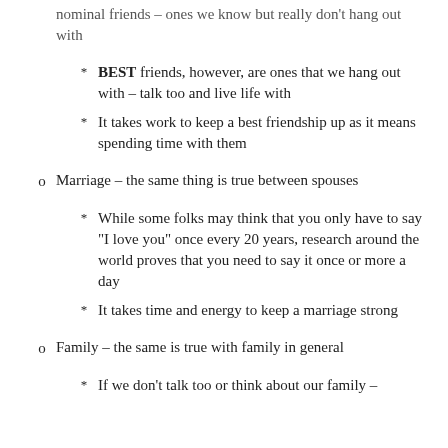nominal friends – ones we know but really don't hang out with
BEST friends, however, are ones that we hang out with – talk too and live life with
It takes work to keep a best friendship up as it means spending time with them
Marriage – the same thing is true between spouses
While some folks may think that you only have to say "I love you" once every 20 years, research around the world proves that you need to say it once or more a day
It takes time and energy to keep a marriage strong
Family – the same is true with family in general
If we don't talk too or think about our family –